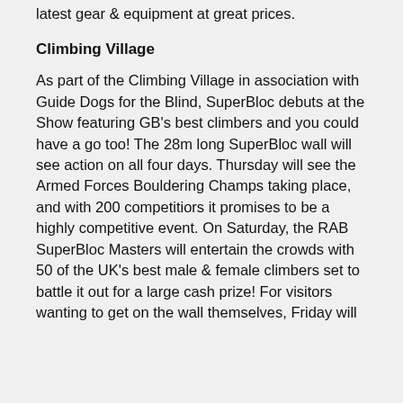latest gear & equipment at great prices.
Climbing Village
As part of the Climbing Village in association with Guide Dogs for the Blind, SuperBloc debuts at the Show featuring GB's best climbers and you could have a go too! The 28m long SuperBloc wall will see action on all four days. Thursday will see the Armed Forces Bouldering Champs taking place, and with 200 competitiors it promises to be a highly competitive event. On Saturday, the RAB SuperBloc Masters will entertain the crowds with 50 of the UK's best male & female climbers set to battle it out for a large cash prize! For visitors wanting to get on the wall themselves, Friday will